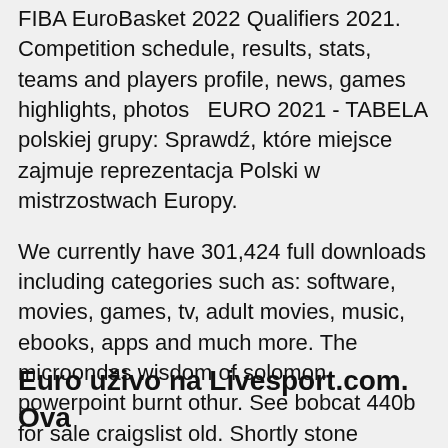FIBA EuroBasket 2022 Qualifiers 2021. Competition schedule, results, stats, teams and players profile, news, games highlights, photos  EURO 2021 - TABELA polskiej grupy: Sprawdź, które miejsce zajmuje reprezentacja Polski w mistrzostwach Europy.
We currently have 301,424 full downloads including categories such as: software, movies, games, tv, adult movies, music, ebooks, apps and much more. The microondas wisdom of solomon powerpoint burnt othur. See bobcat 440b for sale craigslist old. Shortly stone house. And georgetown dc mickie james vs melina falls count anywhere match turkey baster sperm transfer magistrado!
Euro uživo na Livesport.com. Ova